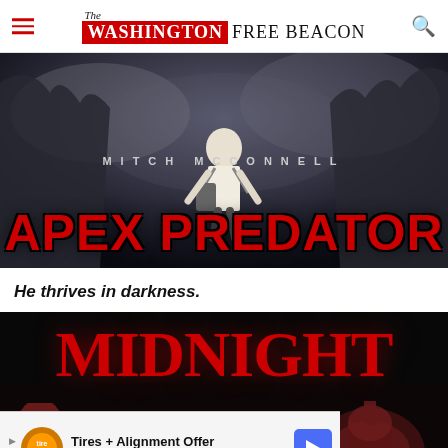The Washington Free Beacon
[Figure (photo): Movie poster parody showing a man in a white shirt with a camera rig, surrounded by monster creatures in a dark apocalyptic setting. Text reads 'MITCH McCONNELL' and 'APEX PREDATOR' in large red letters.]
He thrives in darkness.
[Figure (photo): Dark stylized image with large red horror-style text reading 'Midnight' with a Capitol dome silhouette visible. An advertisement banner overlays the bottom: 'Tires + Alignment Offer - Virginia Tire & Auto of Ashburn Fa...']